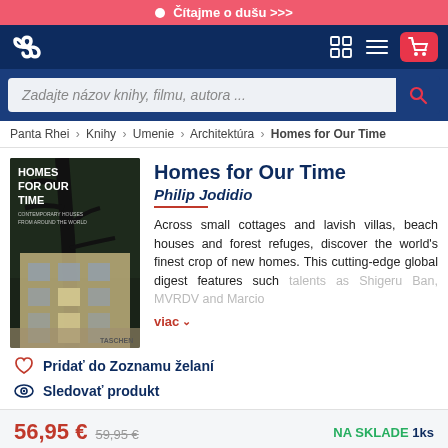Čítajme o dušu >>>
[Figure (logo): Infinity loop logo and navigation icons for cart, menu, grid]
Zadajte názov knihy, filmu, autora ...
Panta Rhei > Knihy > Umenie > Architektúra > Homes for Our Time
[Figure (photo): Book cover of Homes for Our Time showing a modern house with large windows and a tree]
Homes for Our Time
Philip Jodidio
Across small cottages and lavish villas, beach houses and forest refuges, discover the world's finest crop of new homes. This cutting-edge global digest features such talents as Shigeru Ban, MVRDV and Marcio
viac
Pridať do Zoznamu želaní
Sledovať produkt
56,95 €  59,95 €   NA SKLADE 1ks